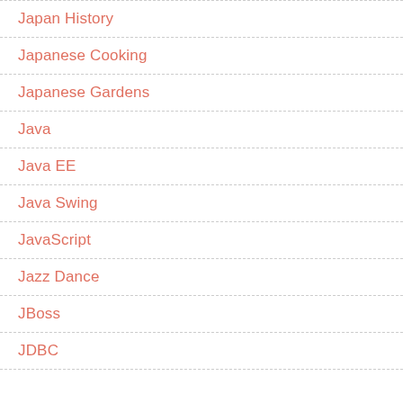Japan History
Japanese Cooking
Japanese Gardens
Java
Java EE
Java Swing
JavaScript
Jazz Dance
JBoss
JDBC